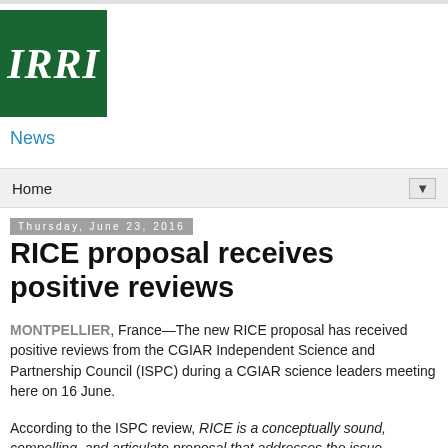[Figure (logo): IRRI logo — dark green square with white italic serif text 'IRRI']
News
Home ▼
Thursday, June 23, 2016
RICE proposal receives positive reviews
MONTPELLIER, France—The new RICE proposal has received positive reviews from the CGIAR Independent Science and Partnership Council (ISPC) during a CGIAR science leaders meeting here on 16 June.
According to the ISPC review, RICE is a conceptually sound, compelling, and articulate proposal that addresses the issue